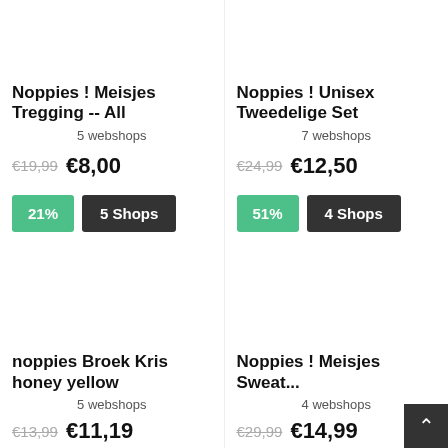Noppies ! Meisjes Tregging -- All
5 webshops
€19,99  €8,00
21%  5 Shops
noppies Broek Kris honey yellow
5 webshops
€13,99  €11,19
Noppies ! Unisex Tweedelige Set
7 webshops
€24,99  €12,50
51%  4 Shops
Noppies ! Meisjes Sweat...
4 webshops
€29,99  €14,99